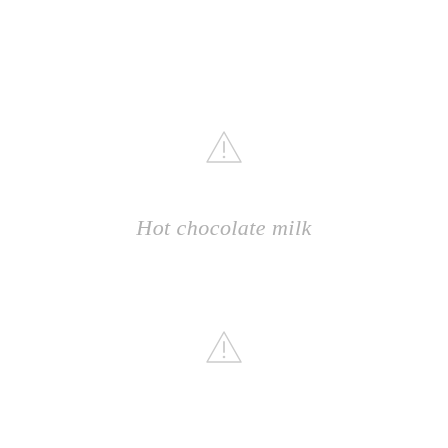[Figure (other): Warning/caution triangle icon (light gray), top center]
Hot chocolate milk
[Figure (other): Warning/caution triangle icon (light gray), bottom center]